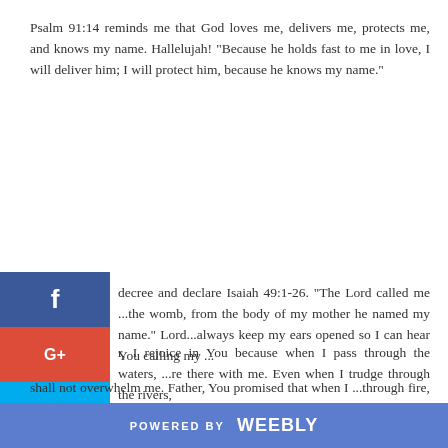Psalm 91:14 reminds me that God loves me, delivers me, protects me, and knows my name. Hallelujah! "Because he holds fast to me in love, I will deliver him; I will protect him, because he knows my name."
...decree and declare Isaiah 49:1-26. "The Lord called me ...he womb, from the body of my mother he named my name." Lord...always keep my ears opened so I can hear You calling my ...
...r, I rejoice in You because when I pass through the waters, ...re there with me. Even when I trudge through the rivers, ...shall not overwhelm me. Father, You promised that when I ...through fire, I shall not be burned, and the flame shall not consume me (Isaiah 43:2). All because You love me!
...ather, You will fulfill Your promises concerning me because I am ...
POWERED BY weebly